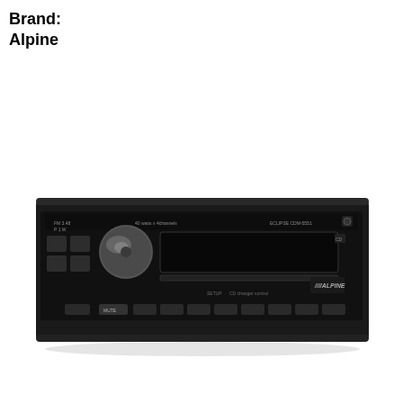Brand: Alpine
[Figure (photo): A photograph of an Alpine car stereo/head unit (model CDM-5551 or similar), black in color, showing the front panel with buttons, a silver volume/tuning knob, CD slot, MUTE button, SETUP and CD Changer Control labels, and the Alpine logo on the right side.]